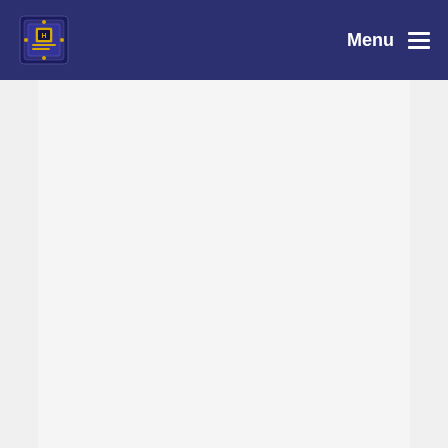Menu
Synkning inför release av 0.46-BETA-L
David Byers committed 22 years ago
Added ability to save all created texts. Added lysk...
David Byers committed 22 years ago